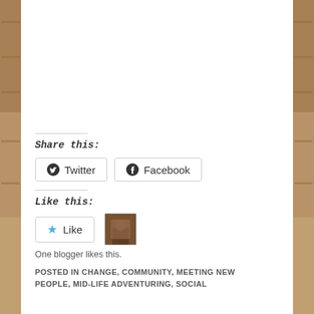[Figure (photo): Background stone/brick wall visible on left and right sides of the page]
Share this:
Twitter  Facebook
Like this:
Like  One blogger likes this.
POSTED IN CHANGE, COMMUNITY, MEETING NEW PEOPLE, MID-LIFE ADVENTURING, SOCIAL